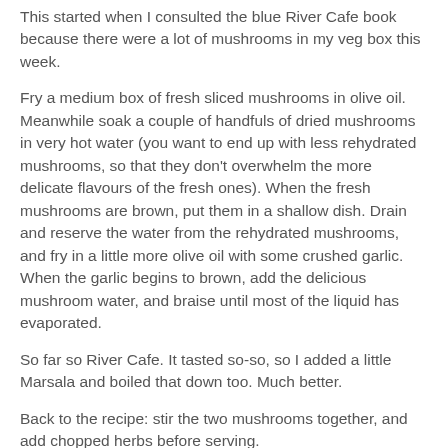This started when I consulted the blue River Cafe book because there were a lot of mushrooms in my veg box this week.
Fry a medium box of fresh sliced mushrooms in olive oil. Meanwhile soak a couple of handfuls of dried mushrooms in very hot water (you want to end up with less rehydrated mushrooms, so that they don't overwhelm the more delicate flavours of the fresh ones). When the fresh mushrooms are brown, put them in a shallow dish. Drain and reserve the water from the rehydrated mushrooms, and fry in a little more olive oil with some crushed garlic. When the garlic begins to brown, add the delicious mushroom water, and braise until most of the liquid has evaporated.
So far so River Cafe. It tasted so-so, so I added a little Marsala and boiled that down too. Much better.
Back to the recipe: stir the two mushrooms together, and add chopped herbs before serving.
Delicious, quick, and easy.